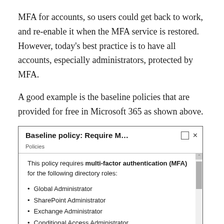MFA for accounts, so users could get back to work, and re-enable it when the MFA service is restored. However, today's best practice is to have all accounts, especially administrators, protected by MFA.
A good example is the baseline policies that are provided for free in Microsoft 365 as shown above.
[Figure (screenshot): Screenshot of Microsoft 365 Baseline policy dialog: 'Baseline policy: Require M... □ ×' with subtitle 'Policies'. Body text reads: 'This policy requires multi-factor authentication (MFA) for the following directory roles:' followed by a bullet list: Global Administrator, SharePoint Administrator, Exchange Administrator, Conditional Access Administrator, Security Administrator, and a partially visible item.]